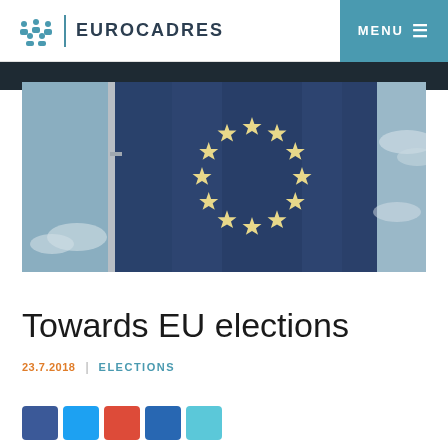EUROCADRES | MENU
[Figure (photo): Close-up photograph of the European Union flag with gold stars arranged in a circle on a dark blue background, mounted on a flagpole against a cloudy sky]
Towards EU elections
23.7.2018 | ELECTIONS